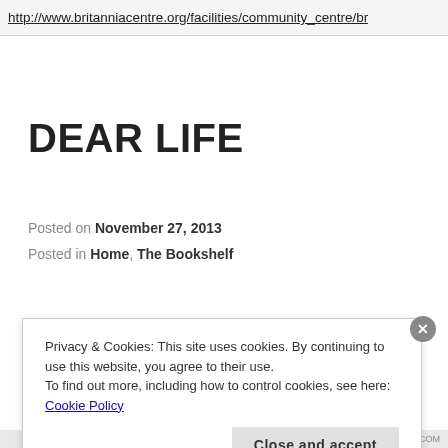http://www.britanniacentre.org/facilities/community_centre/br
DEAR LIFE
Posted on November 27, 2013
Posted in Home, The Bookshelf
Privacy & Cookies: This site uses cookies. By continuing to use this website, you agree to their use.
To find out more, including how to control cookies, see here: Cookie Policy
Close and accept